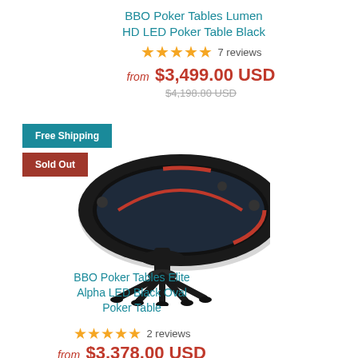BBO Poker Tables Lumen HD LED Poker Table Black
★★★★★ 7 reviews
from $3,499.00 USD
$4,198.80 USD
[Figure (photo): Black oval poker table with red racing stripe and ornate pedestal base, shown at angle. Badges: Free Shipping (teal), Sold Out (red-brown).]
BBO Poker Tables Elite Alpha LED Black Oval Poker Table
★★★★★ 2 reviews
from $3,378.00 USD